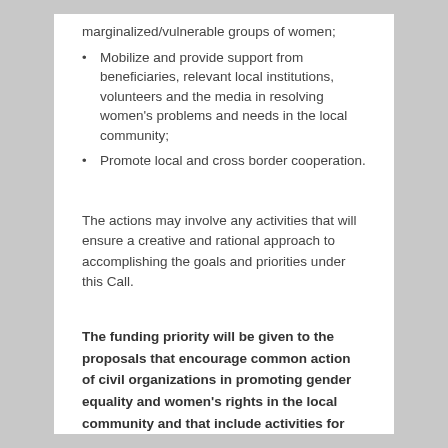marginalized/vulnerable groups of women;
Mobilize and provide support from beneficiaries, relevant local institutions, volunteers and the media in resolving women's problems and needs in the local community;
Promote local and cross border cooperation.
The actions may involve any activities that will ensure a creative and rational approach to accomplishing the goals and priorities under this Call.
The funding priority will be given to the proposals that encourage common action of civil organizations in promoting gender equality and women's rights in the local community and that include activities for networking and exchanging experiences with women's organizations from Kosovo.